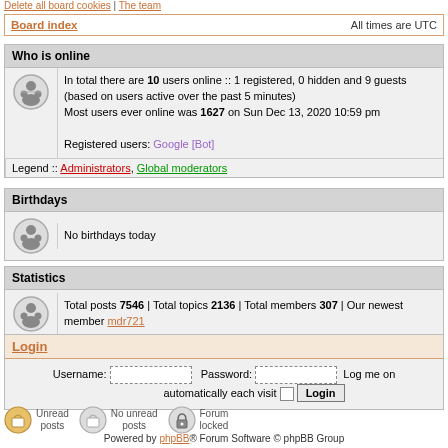Delete all board cookies | The team
Board index    All times are UTC
Who is online
In total there are 10 users online :: 1 registered, 0 hidden and 9 guests (based on users active over the past 5 minutes)
Most users ever online was 1627 on Sun Dec 13, 2020 10:59 pm

Registered users: Google [Bot]
Legend :: Administrators, Global moderators
Birthdays
No birthdays today
Statistics
Total posts 7546 | Total topics 2136 | Total members 307 | Our newest member mdr721
Login
Username:  Password:  Log me on automatically each visit  Login
Unread posts  No unread posts  Forum locked
Powered by phpBB® Forum Software © phpBB Group